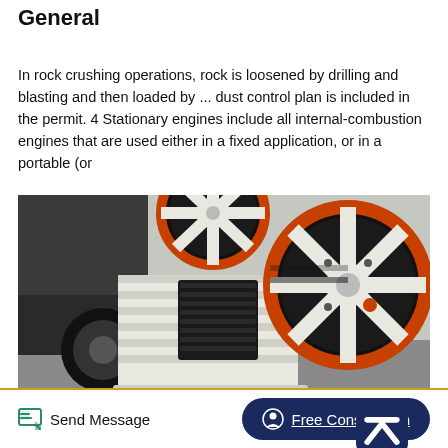United States Environmental Protection Agency General
In rock crushing operations, rock is loosened by drilling and blasting and then loaded by ... dust control plan is included in the permit. 4 Stationary engines include all internal-combustion engines that are used either in a fixed application, or in a portable (or
[Figure (photo): A jaw crusher machine with large black and orange belt-driven flywheel wheels, white metal body, and black corrugated jaw plates, photographed outdoors near a truck.]
Send Message | Free Consultation